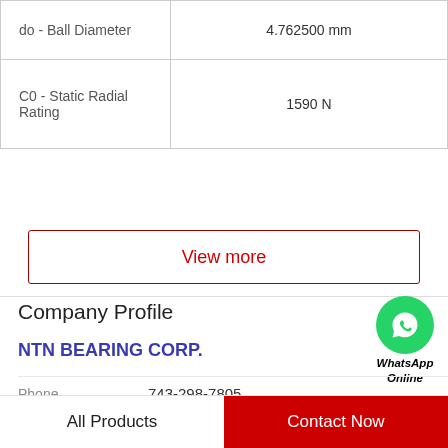| Property | Value |
| --- | --- |
| do - Ball Diameter | 4.762500 mm |
| C0 - Static Radial Rating | 1590 N |
View more
Company Profile
[Figure (illustration): WhatsApp green chat bubble icon with phone handset, labeled WhatsApp Online]
NTN BEARING CORP.
Phone   743-298-7805
View more
All Products   Contact Now